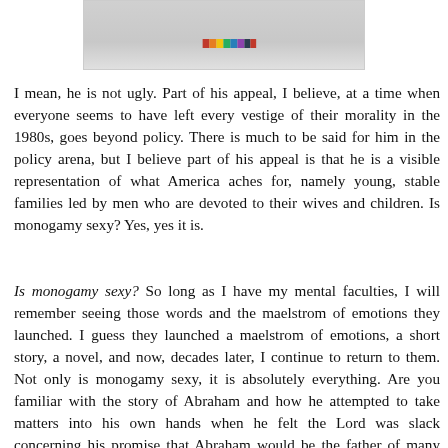[Figure (photo): Partial photo of a person in uniform with a colorful ribbon/medal bar visible]
I mean, he is not ugly. Part of his appeal, I believe, at a time when everyone seems to have left every vestige of their morality in the 1980s, goes beyond policy. There is much to be said for him in the policy arena, but I believe part of his appeal is that he is a visible representation of what America aches for, namely young, stable families led by men who are devoted to their wives and children. Is monogamy sexy? Yes, yes it is.
Is monogamy sexy? So long as I have my mental faculties, I will remember seeing those words and the maelstrom of emotions they launched. I guess they launched a maelstrom of emotions, a short story, a novel, and now, decades later, I continue to return to them. Not only is monogamy sexy, it is absolutely everything. Are you familiar with the story of Abraham and how he attempted to take matters into his own hands when he felt the Lord was slack concerning his promise that Abraham would be the father of many nations?